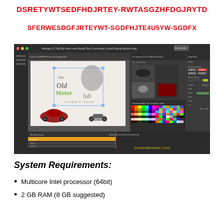DSRETYWTSEDFHDJRTEY-RWTASGZHFDGJRYTD
SFERWESDGFJRTEYWT-SGDFHJTE4U5YW-SGDFX
[Figure (screenshot): Adobe Animate CC software interface showing a classic motor club logo design with a vintage red car and motorcycle, color swatches panel, CC Libraries panel, and Properties panel. Watermark reads CrackMacware.Com]
System Requirements:
Multicore Intel processor (64bit)
2 GB RAM (8 GB suggested)